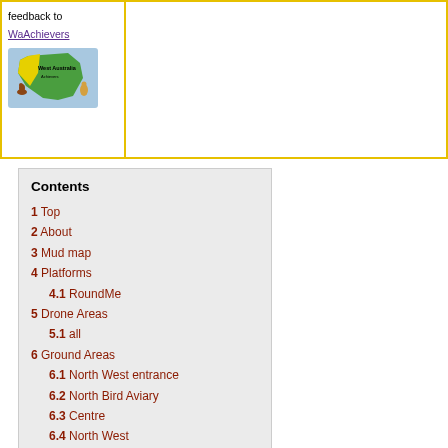feedback to WaAchievers
[Figure (logo): WaAchievers logo showing West Australia map with kangaroo illustration]
Contents
1 Top
2 About
3 Mud map
4 Platforms
4.1 RoundMe
5 Drone Areas
5.1 all
6 Ground Areas
6.1 North West entrance
6.2 North Bird Aviary
6.3 Centre
6.4 North West
6.5 West
7 Photo quality